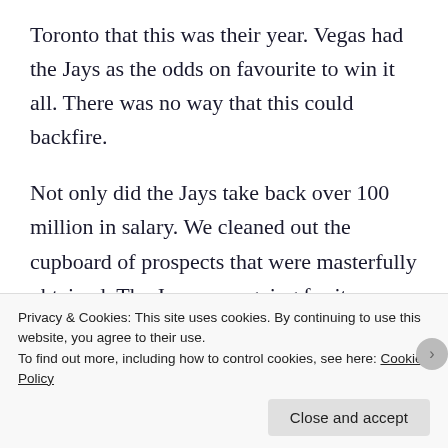Toronto that this was their year. Vegas had the Jays as the odds on favourite to win it all. There was no way that this could backfire.
Not only did the Jays take back over 100 million in salary. We cleaned out the cupboard of prospects that were masterfully obtained. The Jays were going for it. Having Jose Bautista clamoring for more presence in the lineup and staff probably didn't help. Antholopous showed an extreme amount of
Privacy & Cookies: This site uses cookies. By continuing to use this website, you agree to their use.
To find out more, including how to control cookies, see here: Cookie Policy
[Close and accept]